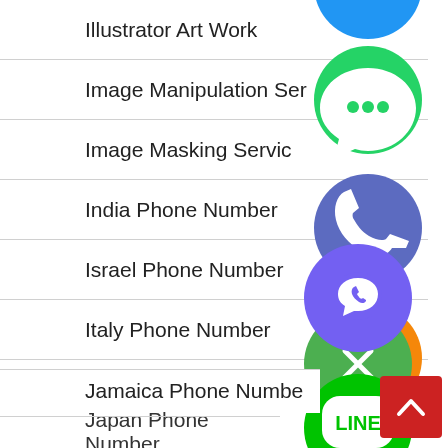Illustrator Art Work
Image Manipulation Service
Image Masking Service
India Phone Number
Israel Phone Number
Italy Phone Number
Ivory Coast Phone Number
Jamaica Phone Number
Japan Phone Number
[Figure (illustration): Floating social media / contact icons: WhatsApp (green), Phone (purple/blue), Email (orange), LINE (green), Viber (purple), Close/X (green), and partially visible blue circle at top]